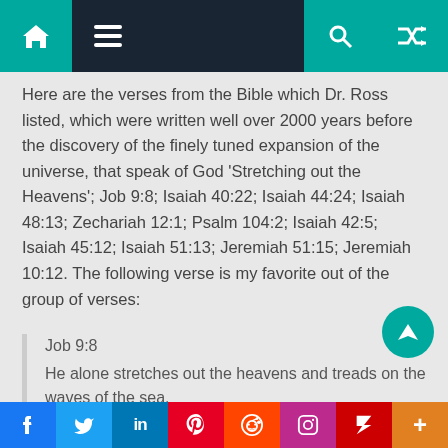Navigation bar with home, menu, search, and shuffle icons
Here are the verses from the Bible which Dr. Ross listed, which were written well over 2000 years before the discovery of the finely tuned expansion of the universe, that speak of God ‘Stretching out the Heavens’; Job 9:8; Isaiah 40:22; Isaiah 44:24; Isaiah 48:13; Zechariah 12:1; Psalm 104:2; Isaiah 42:5; Isaiah 45:12; Isaiah 51:13; Jeremiah 51:15; Jeremiah 10:12. The following verse is my favorite out of the group of verses:
Job 9:8
He alone stretches out the heavens and treads on the waves of the sea.
Social share bar: Facebook, Twitter, LinkedIn, Pinterest, Reddit, Instagram, Flipboard, Plus